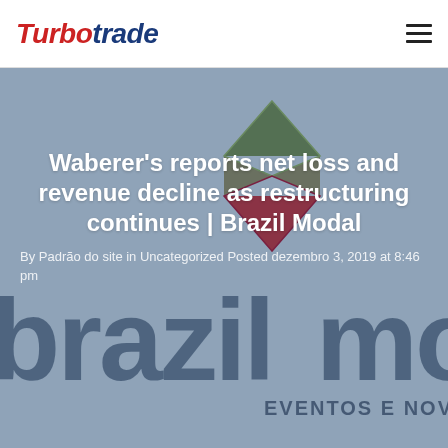[Figure (logo): Turbotrade logo with 'Turbo' in red italic and 'trade' in dark blue italic]
Waberer's reports net loss and revenue decline as restructuring continues | Brazil Modal
By Padrão do site in Uncategorized Posted dezembro 3, 2019 at 8:46 pm